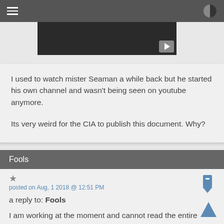≡  ◑
[Figure (screenshot): Dark video thumbnail with a play button in the lower right corner]
I used to watch mister Seaman a while back but he started his own channel and wasn't being seen on youtube anymore.

Its very weird for the CIA to publish this document. Why?
Fools
posted on Aug, 1 2018 @ 12:51 PM
a reply to: Fools
I am working at the moment and cannot read the entire document. If anyone finishes it please chime in. I am listening to Seaman's synopsis and so far it sounds just